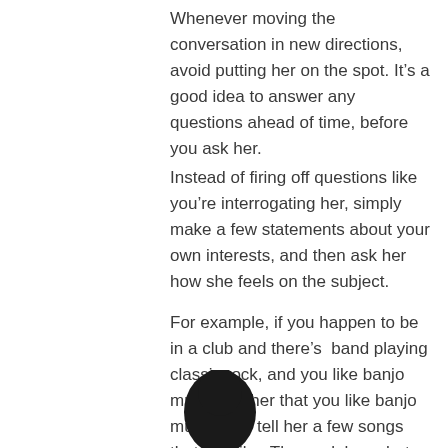Whenever moving the conversation in new directions, avoid putting her on the spot. It’s a good idea to answer any questions ahead of time, before you ask her.
Instead of firing off questions like you’re interrogating her, simply make a few statements about your own interests, and then ask her how she feels on the subject.
For example, if you happen to be in a club and there’s  band playing classic rock, and you like banjo music, tell her that you like banjo music, and tell her a few songs that you like. Then ask her what kind of music she likes. She’ll be much more willing to open up if you open up first.
[Figure (photo): A person's head/silhouette photo at the bottom of the page]